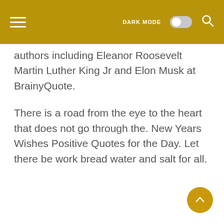DARK MODE
authors including Eleanor Roosevelt Martin Luther King Jr and Elon Musk at BrainyQuote.
There is a road from the eye to the heart that does not go through the. New Years Wishes Positive Quotes for the Day. Let there be work bread water and salt for all.